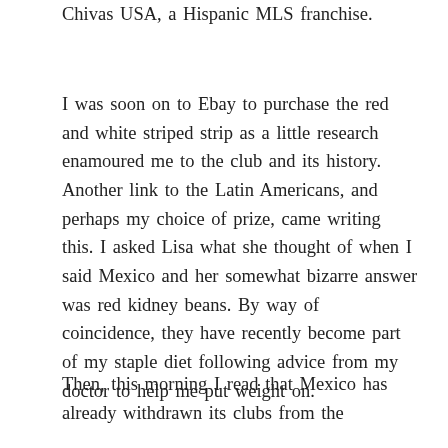Chivas USA, a Hispanic MLS franchise.
I was soon on to Ebay to purchase the red and white striped strip as a little research enamoured me to the club and its history. Another link to the Latin Americans, and perhaps my choice of prize, came writing this. I asked Lisa what she thought of when I said Mexico and her somewhat bizarre answer was red kidney beans. By way of coincidence, they have recently become part of my staple diet following advice from my doctor to help me put weight on.
Then, this morning I read that Mexico has already withdrawn its clubs from the